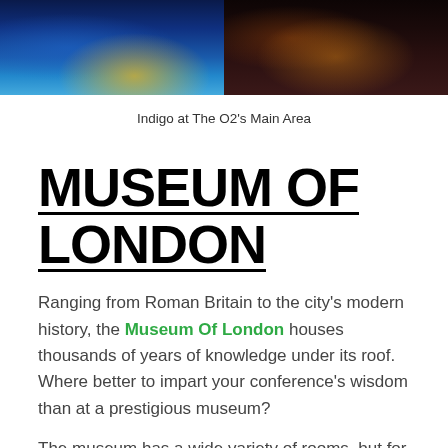[Figure (photo): Two venue photos side by side: left shows Indigo at The O2 main area with blue and yellow lighting on a dance floor, right shows a dimly lit event/dinner setting with people seated at tables.]
Indigo at The O2's Main Area
MUSEUM OF LONDON
Ranging from Roman Britain to the city's modern history, the Museum Of London houses thousands of years of knowledge under its roof. Where better to impart your conference's wisdom than at a prestigious museum?
The museum has a wide variety of rooms, but for a space set to impress, don't miss the stylish Garden Room. This